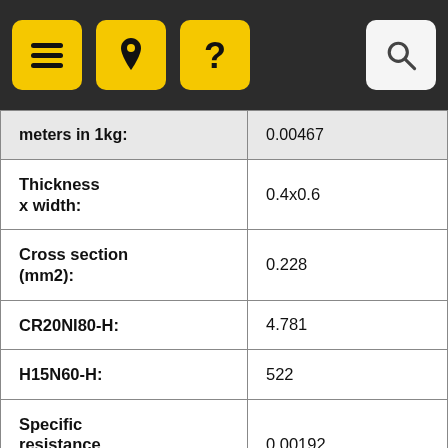Navigation bar with menu, location, help, and search buttons
| Property | Value |
| --- | --- |
| meters in 1kg: | 0.00467 |
| Thickness x width: | 0.4x0.6 |
| Cross section (mm2): | 0.228 |
| CR20NI80-H: | 4.781 |
| H15N60-H: | 522 |
| Specific resistance μΩ·m1.09±0.06: | 0.00192 |
| Specific resistance | 4.87 |